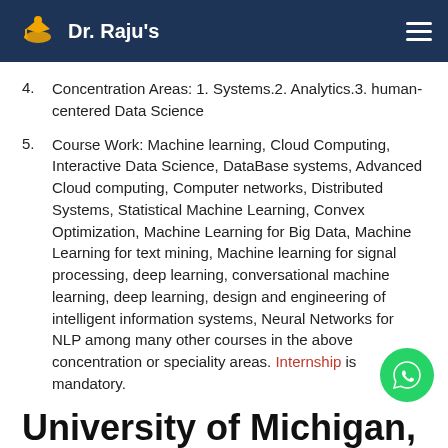Dr. Raju's
Concentration Areas: 1. Systems.2. Analytics.3. human-centered Data Science
Course Work:  Machine learning, Cloud Computing, Interactive Data Science, DataBase systems, Advanced Cloud computing, Computer networks, Distributed Systems, Statistical Machine Learning, Convex Optimization, Machine Learning for Big Data, Machine Learning for text mining, Machine learning for signal processing, deep learning, conversational machine learning, deep learning, design and engineering of intelligent information systems, Neural Networks for NLP among many other courses in the above concentration or speciality areas. Internship is mandatory.
University of Michigan,